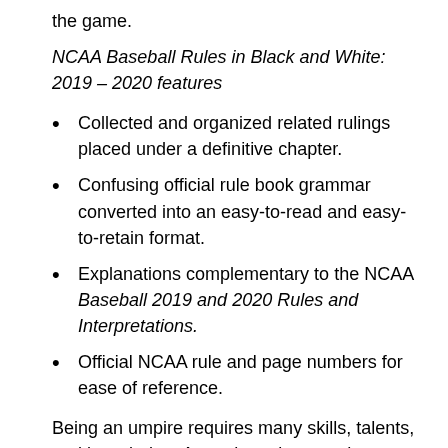the game.
NCAA Baseball Rules in Black and White: 2019 – 2020 features
Collected and organized related rulings placed under a definitive chapter.
Confusing official rule book grammar converted into an easy-to-read and easy-to-retain format.
Explanations complementary to the NCAA Baseball 2019 and 2020 Rules and Interpretations.
Official NCAA rule and page numbers for ease of reference.
Being an umpire requires many skills, talents, and knowledge. A good umpire must have excellent tracking, a consistent